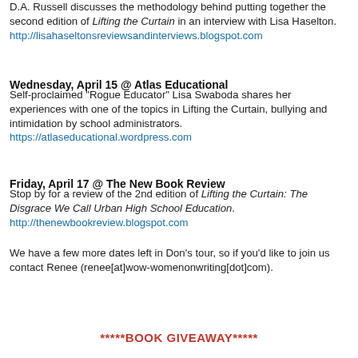D.A. Russell discusses the methodology behind putting together the second edition of Lifting the Curtain in an interview with Lisa Haselton.
http://lisahaseltonsreviewsandinterviews.blogspot.com
Wednesday, April 15 @ Atlas Educational
Self-proclaimed "Rogue Educator" Lisa Swaboda shares her experiences with one of the topics in Lifting the Curtain, bullying and intimidation by school administrators.
https://atlaseducational.wordpress.com
Friday, April 17 @ The New Book Review
Stop by for a review of the 2nd edition of Lifting the Curtain: The Disgrace We Call Urban High School Education.
http://thenewbookreview.blogspot.com
We have a few more dates left in Don's tour, so if you'd like to join us contact Renee (renee[at]wow-womenonwriting[dot]com).
*****BOOK GIVEAWAY*****